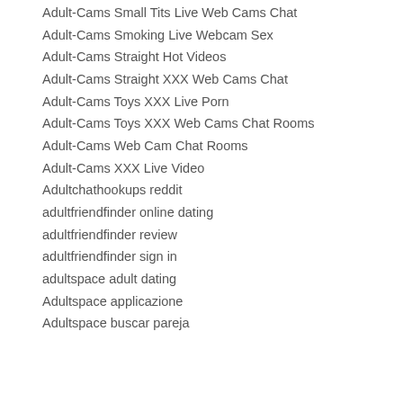Adult-Cams Small Tits Live Web Cams Chat
Adult-Cams Smoking Live Webcam Sex
Adult-Cams Straight Hot Videos
Adult-Cams Straight XXX Web Cams Chat
Adult-Cams Toys XXX Live Porn
Adult-Cams Toys XXX Web Cams Chat Rooms
Adult-Cams Web Cam Chat Rooms
Adult-Cams XXX Live Video
Adultchathookups reddit
adultfriendfinder online dating
adultfriendfinder review
adultfriendfinder sign in
adultspace adult dating
Adultspace applicazione
Adultspace buscar pareja